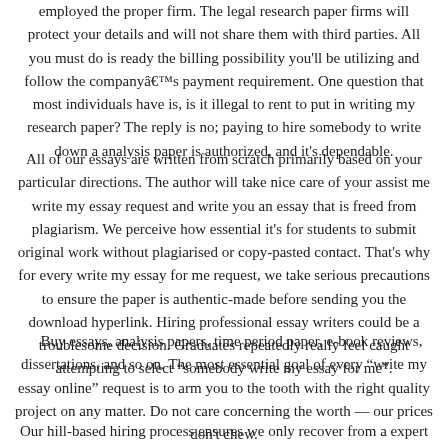employed the proper firm. The legal research paper firms will protect your details and will not share them with third parties. All you must do is ready the billing possibility you'll be utilizing and follow the companyâs payment requirement. One question that most individuals have is, is it illegal to rent to put in writing my research paper? The reply is no; paying to hire somebody to write down a analysis paper is authorized, and it's dependable.
All of our essays are written from scratch primarily based on your particular directions. The author will take nice care of your assist me write my essay request and write you an essay that is freed from plagiarism. We perceive how essential it's for students to submit original work without plagiarised or copy-pasted contact. That's why for every write my essay for me request, we take serious precautions to ensure the paper is authentic-made before sending you the download hyperlink. Hiring professional essay writers could be a troublesome decision. Graduates repeatedly really feel caught attempting to select “somebody write my essay for me”.
Buy essays, analysis papers, time period paper, e-book reviews, dissertations, and so on. The most essential goal of every âwrite my essay onlineâ request is to arm you to the tooth with the right quality project on any matter. Do not care concerning the worth â our prices don't chew.
Ourhill-based hiring process ensures we only recover from a expert